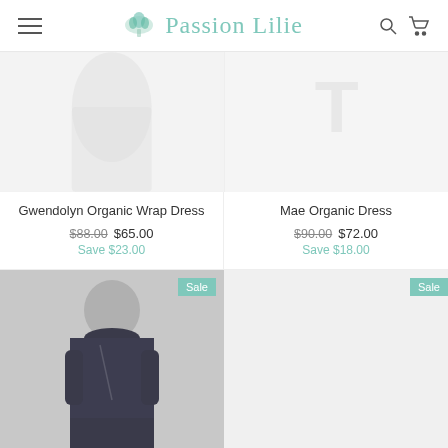Passion Lilie - navigation header with hamburger menu, logo, search and cart icons
[Figure (photo): Product image area for Gwendolyn Organic Wrap Dress - faded/light product image]
Gwendolyn Organic Wrap Dress
$88.00 $65.00 Save $23.00
[Figure (photo): Product image area for Mae Organic Dress - faded watermark style product image]
Mae Organic Dress
$90.00 $72.00 Save $18.00
[Figure (photo): Model wearing dark navy patterned short-sleeve wrap dress, Sale badge visible]
[Figure (photo): Second product bottom right - Sale badge visible, product image area]